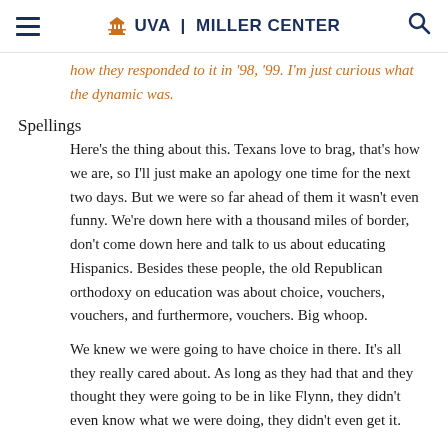UVA | MILLER CENTER
how they responded to it in '98, '99. I'm just curious what the dynamic was.
Spellings
Here's the thing about this. Texans love to brag, that's how we are, so I'll just make an apology one time for the next two days. But we were so far ahead of them it wasn't even funny. We're down here with a thousand miles of border, don't come down here and talk to us about educating Hispanics. Besides these people, the old Republican orthodoxy on education was about choice, vouchers, vouchers, and furthermore, vouchers. Big whoop.
We knew we were going to have choice in there. It's all they really cared about. As long as they had that and they thought they were going to be in like Flynn, they didn't even know what we were doing, they didn't even get it.